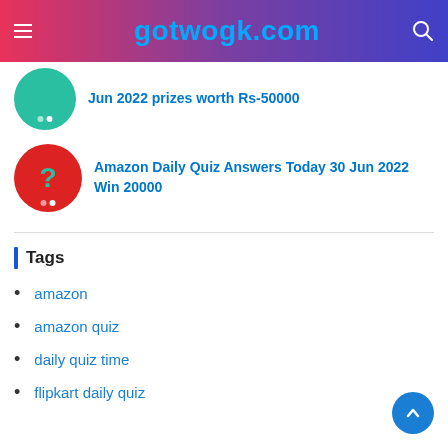gotwogk.com
Jun 2022 prizes worth Rs-50000
Amazon Daily Quiz Answers Today 30 Jun 2022 Win 20000
Tags
amazon
amazon quiz
daily quiz time
flipkart daily quiz